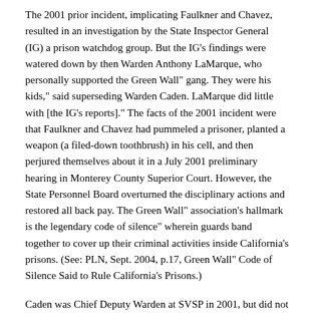The 2001 prior incident, implicating Faulkner and Chavez, resulted in an investigation by the State Inspector General (IG) a prison watchdog group. But the IG's findings were watered down by then Warden Anthony LaMarque, who personally supported the Green Wall" gang. They were his kids," said superseding Warden Caden. LaMarque did little with [the IG's reports]." The facts of the 2001 incident were that Faulkner and Chavez had pummeled a prisoner, planted a weapon (a filed-down toothbrush) in his cell, and then perjured themselves about it in a July 2001 preliminary hearing in Monterey County Superior Court. However, the State Personnel Board overturned the disciplinary actions and restored all back pay. The Green Wall" association's hallmark is the legendary code of silence" wherein guards band together to cover up their criminal activities inside California's prisons. (See: PLN, Sept. 2004, p.17, Green Wall" Code of Silence Said to Rule California's Prisons.)
Caden was Chief Deputy Warden at SVSP in 2001, but did not know about the incident until he became acting Warden in February, 2004. Upon finding out, he immediately began an investigation, asking for support from California Department of Corrections (CDC) headquarters as well as from the IG. The response was telling. CDC headquarters removed him to Sacramento without explanation and terminated his executive status. They're not getting tough," he said. They're putting on a show." He then went public with his demotion and retired from his 28 year CDC career.